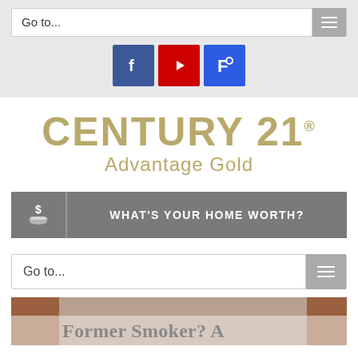Go to...
[Figure (logo): Facebook, YouTube, and Foursquare social media icon buttons]
[Figure (logo): Century 21 Advantage Gold logo in gold/tan color]
[Figure (infographic): Gray banner with dollar sign hand icon and text: WHAT'S YOUR HOME WORTH?]
Go to...
Former Smoker? A